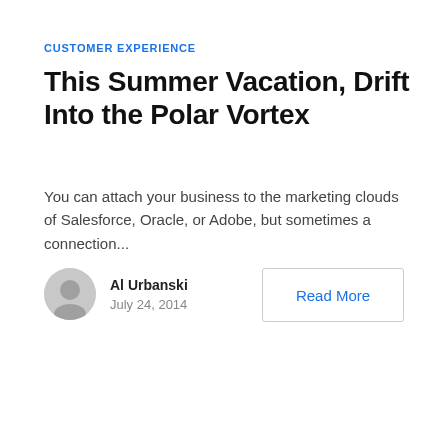CUSTOMER EXPERIENCE
This Summer Vacation, Drift Into the Polar Vortex
You can attach your business to the marketing clouds of Salesforce, Oracle, or Adobe, but sometimes a connection...
Al Urbanski
July 24, 2014
Read More